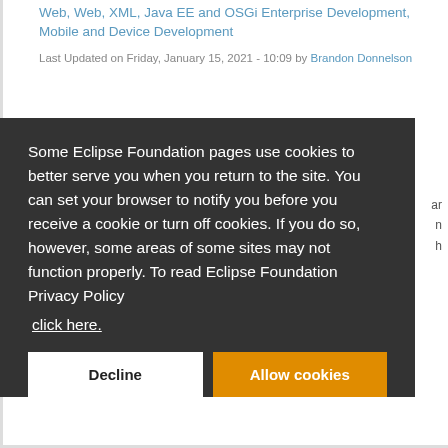Web, Web, XML, Java EE and OSGi Enterprise Development, Mobile and Device Development
Last Updated on Friday, January 15, 2021 - 10:09 by Brandon Donnelson
Some Eclipse Foundation pages use cookies to better serve you when you return to the site. You can set your browser to notify you before you receive a cookie or turn off cookies. If you do so, however, some areas of some sites may not function properly. To read Eclipse Foundation Privacy Policy click here.